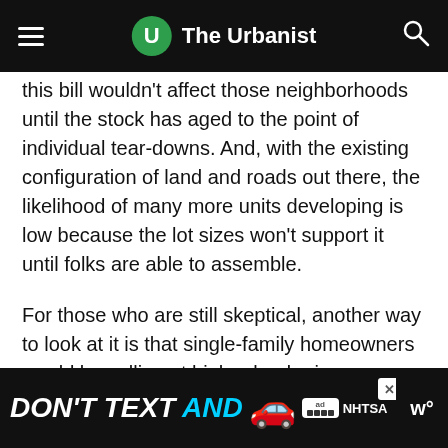The Urbanist
this bill wouldn't affect those neighborhoods until the stock has aged to the point of individual tear-downs. And, with the existing configuration of land and roads out there, the likelihood of many more units developing is low because the lot sizes won't support it until folks are able to assemble.
For those who are still skeptical, another way to look at it is that single-family homeowners would be selling at higher land prices—meaning wealth building for the middle class.
Sure, some neighbors will not like it because generally most people oppose increased density in their ne
[Figure (infographic): DON'T TEXT AND advertisement banner with car emoji, ad badge, and NHTSA logo]